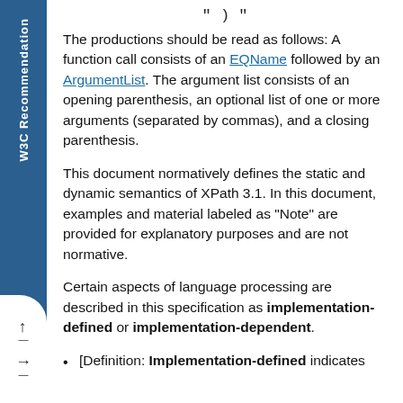" ) "
The productions should be read as follows: A function call consists of an EQName followed by an ArgumentList. The argument list consists of an opening parenthesis, an optional list of one or more arguments (separated by commas), and a closing parenthesis.
This document normatively defines the static and dynamic semantics of XPath 3.1. In this document, examples and material labeled as "Note" are provided for explanatory purposes and are not normative.
Certain aspects of language processing are described in this specification as implementation-defined or implementation-dependent.
[Definition: Implementation-defined indicates